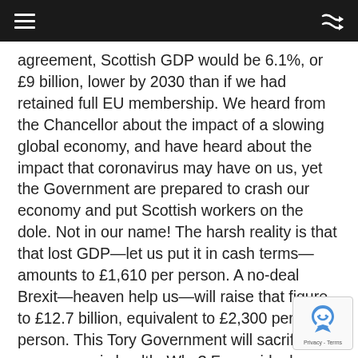≡  [shuffle icon]
agreement, Scottish GDP would be 6.1%, or £9 billion, lower by 2030 than if we had retained full EU membership. We heard from the Chancellor about the impact of a slowing global economy, and have heard about the impact that coronavirus may have on us, yet the Government are prepared to crash our economy and put Scottish workers on the dole. Not in our name! The harsh reality is that that lost GDP—let us put it in cash terms—amounts to £1,610 per person. A no-deal Brexit—heaven help us—will raise that figure to £12.7 billion, equivalent to £2,300 per person. This Tory Government will sacrifice our economic health. Why? For an ideology--the narrow ideology of the Brexit fanboys, led by Dominic Cummings, now running the Treasury. As the trade negotiations unfold in